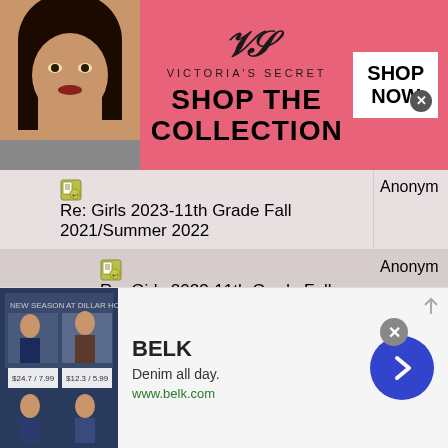[Figure (photo): Victoria's Secret advertisement banner with model, VS logo, 'SHOP THE COLLECTION' text and 'SHOP NOW' button on pink background]
Re: Girls 2023-11th Grade Fall 2021/Summer 2022 | Anonym
Re: Girls 2023-11th Grade Fall 2021/Summer 2022 | Anonym
Re: Girls 2023-11th Grade Fall 2021/Summer 2022 | Anonym
Re: Girls 2023-11th Grade Fall 2021/Summer 2022 | Anonym
Re: Girls 2023-11th Grade Fall 2021/Summer 2022 | Anonym
Re: Girls 2023-11th Grade Fall 2021/Summer 2022 | Anonym
[Figure (screenshot): Belk advertisement: 'BELK - Denim all day. www.belk.com' with blue navigation arrow button and close button]